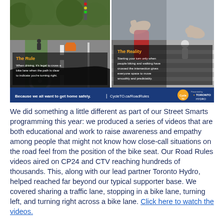[Figure (photo): Split image showing two scenes: left side shows a view from inside a car looking out at a road with a bike lane and a cyclist; right side shows hands near a car door with a pedestrian/cyclist crossing. Overlays read 'The Rule' and 'The Reality' with descriptive text. Bottom banner: 'Because we all want to get home safely. | CycleTO.ca/RoadRules' with CycleTO and Toronto Hydro logos.]
We did something a little different as part of our Street Smarts programming this year: we produced a series of videos that are both educational and work to raise awareness and empathy among people that might not know how close-call situations on the road feel from the position of the bike seat. Our Road Rules videos aired on CP24 and CTV reaching hundreds of thousands. This, along with our lead partner Toronto Hydro, helped reached far beyond our typical supporter base. We covered sharing a traffic lane, stopping in a bike lane, turning left, and turning right across a bike lane. Click here to watch the videos.